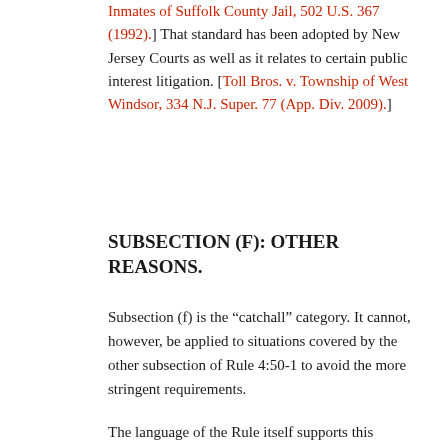Inmates of Suffolk County Jail, 502 U.S. 367 (1992).] That standard has been adopted by New Jersey Courts as well as it relates to certain public interest litigation. [Toll Bros. v. Township of West Windsor, 334 N.J. Super. 77 (App. Div. 2009).]
SUBSECTION (F): OTHER REASONS.
Subsection (f) is the “catchall” category. It cannot, however, be applied to situations covered by the other subsection of Rule 4:50-1 to avoid the more stringent requirements.
The language of the Rule itself supports this